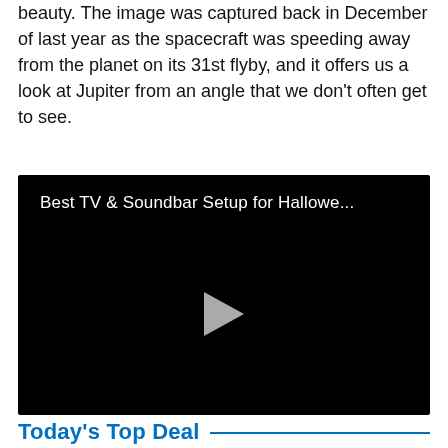beauty. The image was captured back in December of last year as the spacecraft was speeding away from the planet on its 31st flyby, and it offers us a look at Jupiter from an angle that we don't often get to see.
[Figure (screenshot): Black video player thumbnail with title 'Best TV & Soundbar Setup for Hallowe...' and a play button in the center.]
Today's Top Deal